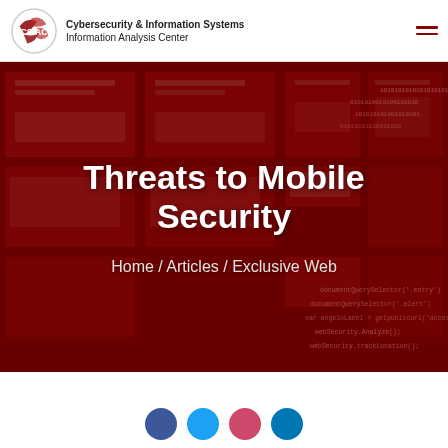CSIAC – Cybersecurity & Information Systems Information Analysis Center
[Figure (illustration): CSIAC logo with circular emblem on the left and text 'Cybersecurity & Information Systems Information Analysis Center' on the right, with hamburger menu icon in top right corner]
Threats to Mobile Security
Home / Articles / Exclusive Web
[Figure (photo): Dark red hero banner background with collage of web and cybersecurity screenshots, binary/code text overlaid, including partially visible code snippets like 'webSecurity.Analyze()' and 'webSecurity.trackLocation()']